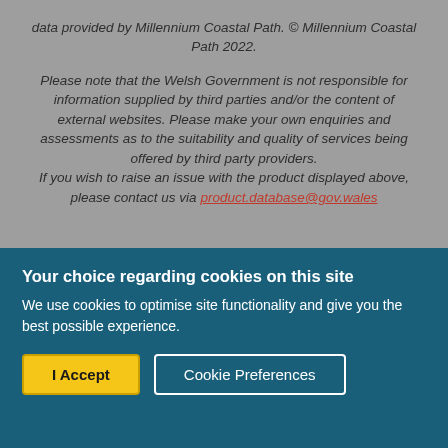data provided by Millennium Coastal Path. © Millennium Coastal Path 2022.
Please note that the Welsh Government is not responsible for information supplied by third parties and/or the content of external websites. Please make your own enquiries and assessments as to the suitability and quality of services being offered by third party providers. If you wish to raise an issue with the product displayed above, please contact us via product.database@gov.wales
Your choice regarding cookies on this site
We use cookies to optimise site functionality and give you the best possible experience.